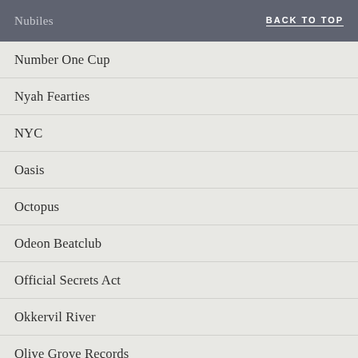Nubiles   BACK TO TOP
Number One Cup
Nyah Fearties
NYC
Oasis
Octopus
Odeon Beatclub
Official Secrets Act
Okkervil River
Olive Grove Records
OMD
One Dove
One Thousand Violins